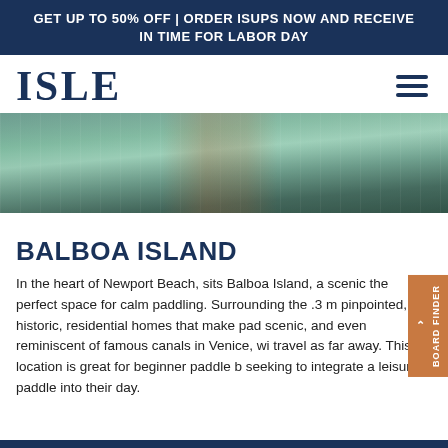GET UP TO 50% OFF | ORDER ISUPS NOW AND RECEIVE IN TIME FOR LABOR DAY
ISLE
[Figure (photo): Aerial or water-level photo of a calm water channel, likely Balboa Island waterway, showing greenish water with light reflections and distant structures.]
BALBOA ISLAND
In the heart of Newport Beach, sits Balboa Island, a scenic the perfect space for calm paddling. Surrounding the .3 m pinpointed, are historic, residential homes that make pad scenic, and even reminiscent of famous canals in Venice, wi travel as far away. This location is great for beginner paddle b seeking to integrate a leisurely paddle into their day.